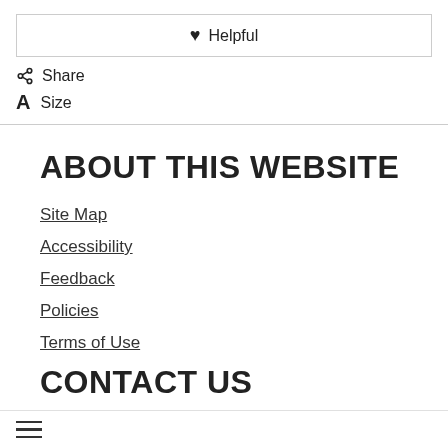♥ Helpful
Share
A  Size
ABOUT THIS WEBSITE
Site Map
Accessibility
Feedback
Policies
Terms of Use
CONTACT US
☰